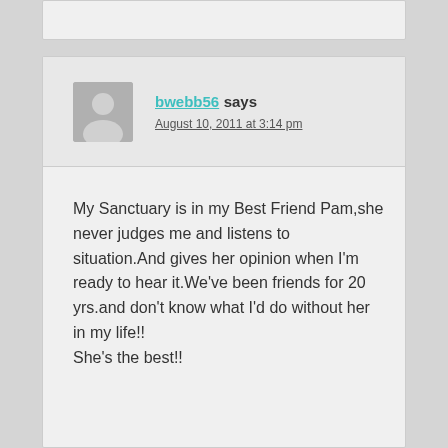bwebb56 says
August 10, 2011 at 3:14 pm
My Sanctuary is in my Best Friend Pam,she never judges me and listens to situation.And gives her opinion when I'm ready to hear it.We've been friends for 20 yrs.and don't know what I'd do without her in my life!!
She's the best!!